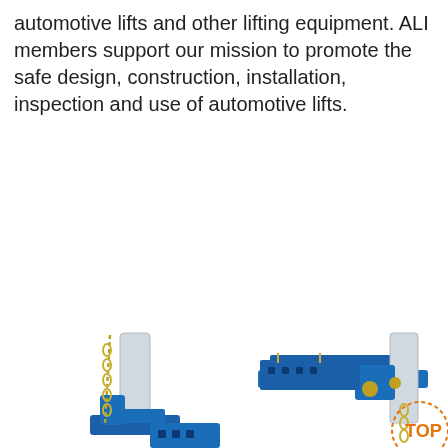automotive lifts and other lifting equipment. ALI members support our mission to promote the safe design, construction, installation, inspection and use of automotive lifts.
[Figure (other): Orange 'Get Price' button]
[Figure (other): 24/7 Online chat panel with customer service representative photo, 'Click here for free chat!' text, and orange QUOTATION button]
[Figure (photo): Two product photos of blue automotive lift equipment (SLIDE brand) showing chain mechanism and frame details]